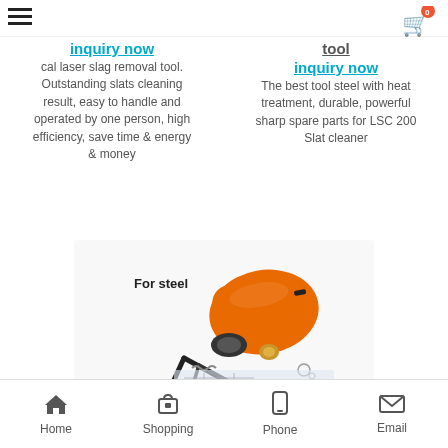[Figure (screenshot): Mobile e-commerce product page screenshot showing two product columns with 'inquiry now' links, product descriptions, a product image of an orange tool/slag removal device with accessories, and a bottom navigation bar with Home, Shopping, Phone, and Email icons.]
inquiry now
cal laser slag removal tool. Outstanding slats cleaning result, easy to handle and operated by one person, high efficiency, save time & energy & money
tool
inquiry now
The best tool steel with heat treatment, durable, powerful sharp spare parts for LSC 200 Slat cleaner
For steel
Home  Shopping  Phone  Email